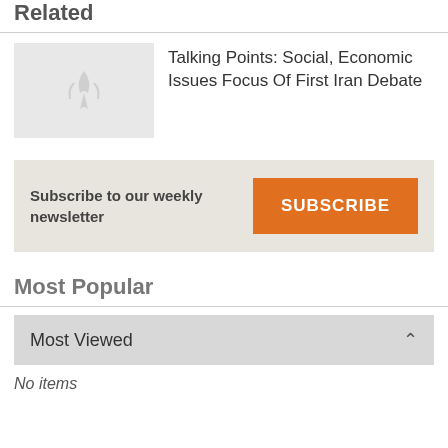Related
[Figure (illustration): Thumbnail placeholder image with a grey background and a small decorative arrow/wing logo in the center]
Talking Points: Social, Economic Issues Focus Of First Iran Debate
Subscribe to our weekly newsletter
SUBSCRIBE
Most Popular
Most Viewed
No items